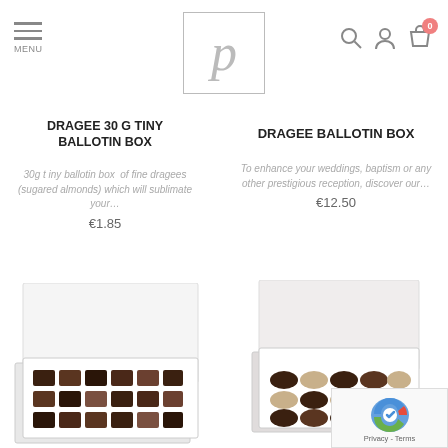MENU — Logo — Search, Account, Bag icons
DRAGEE 30 G TINY BALLOTIN BOX
30g tiny ballotin box of fine dragees (sugared almonds) which will sublimate your…
€1.85
DRAGEE BALLOTIN BOX
To enhance your weddings, baptism or any other prestigious reception, discover our…
€12.50
[Figure (photo): White box with lid open showing assorted chocolates inside]
[Figure (photo): White box with lid partially open showing assorted chocolates]